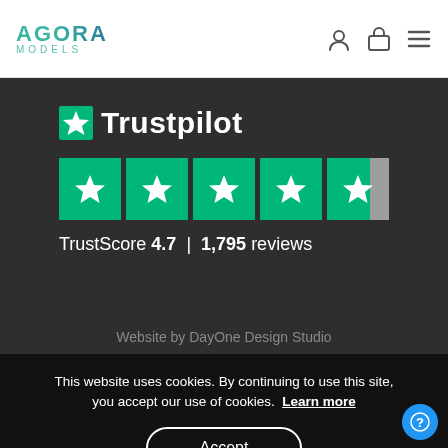AGORA MODELS
[Figure (infographic): Trustpilot rating widget showing 4.7 stars out of 5 with 1,795 reviews on a dark background]
TrustScore 4.7 | 1,795 reviews
Website by DayOne Design Studio
This website uses cookies. By continuing to use this site, you accept our use of cookies. Learn more
Accept